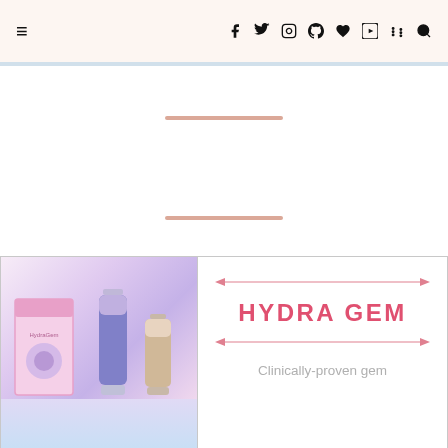≡  f  𝕏  ○  ⊕  ♥  ▶  )))  🔍
[Figure (illustration): Two decorative pink horizontal rule dividers on white background area]
[Figure (photo): HydraGem product photo showing box and two bottles (serum and cream) with pink/purple gradient background, alongside brand name HYDRA GEM with arrow decorators and tagline 'Clinically-proven gem']